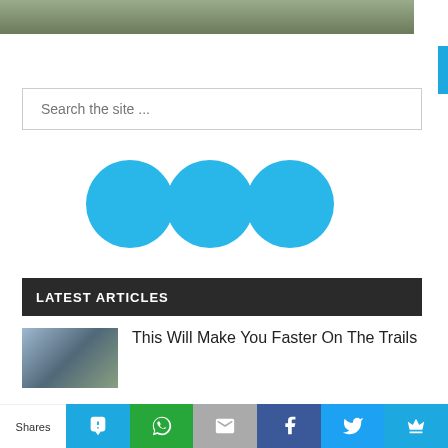[Figure (photo): Top strip of a cycling photo showing a road cyclist from behind on a road with greenery]
[Figure (infographic): Three overlapping cyan/light-blue circles arranged horizontally, resembling a loading or social indicator]
LATEST ARTICLES
[Figure (photo): Thumbnail of a mountain biker riding on rocky terrain with mountains in the background]
This Will Make You Faster On The Trails
Shares